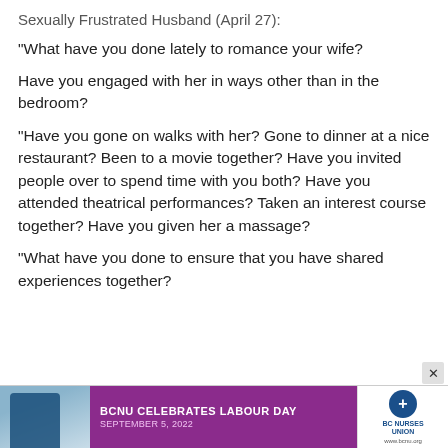Sexually Frustrated Husband (April 27):
“What have you done lately to romance your wife?
Have you engaged with her in ways other than in the bedroom?
“Have you gone on walks with her? Gone to dinner at a nice restaurant? Been to a movie together? Have you invited people over to spend time with you both? Have you attended theatrical performances? Taken an interest course together? Have you given her a massage?
“What have you done to ensure that you have shared experiences together?
[Figure (other): Advertisement banner: BCNU Celebrates Labour Day, September 5, 2022, with BC Nurses Union logo]